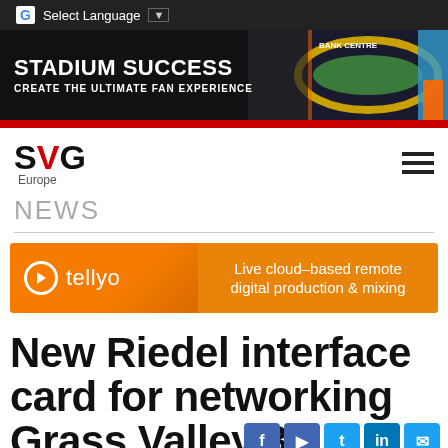Select Language
[Figure (illustration): Stadium Success banner advertisement: 'STADIUM SUCCESS - CREATE THE ULTIMATE FAN EXPERIENCE' with stadium/sports graphic on right]
[Figure (logo): SVG Europe logo with red V]
NEWS
[Figure (illustration): Tellyo advertisement banner: Live cloud-based remote digital production & mixing]
New Riedel interface card for networking Grass Valley 3G